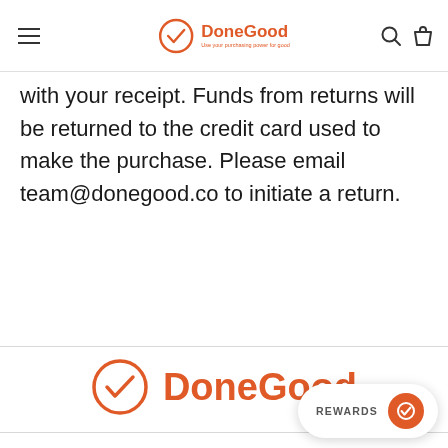DoneGood — Use your purchasing power for good
with your receipt. Funds from returns will be returned to the credit card used to make the purchase. Please email team@donegood.co to initiate a return.
[Figure (logo): DoneGood logo: orange circle with checkmark and bold orange DoneGood wordmark]
About Us
Contact Us
FAQs